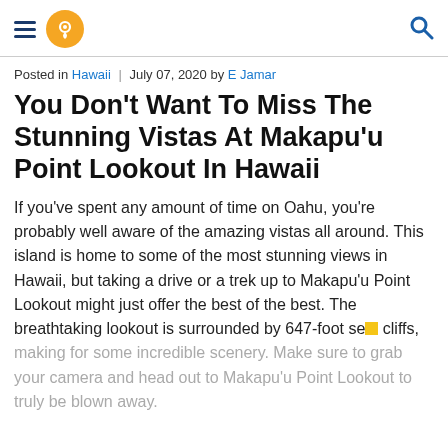Navigation header with hamburger menu, location pin logo, and search icon
Posted in Hawaii | July 07, 2020 by E Jamar
You Don't Want To Miss The Stunning Vistas At Makapu'u Point Lookout In Hawaii
If you've spent any amount of time on Oahu, you're probably well aware of the amazing vistas all around. This island is home to some of the most stunning views in Hawaii, but taking a drive or a trek up to Makapu'u Point Lookout might just offer the best of the best. The breathtaking lookout is surrounded by 647-foot sea cliffs, making for some incredible scenery. Make sure to grab your camera and head out to Makapu'u Point Lookout to truly be blown away.